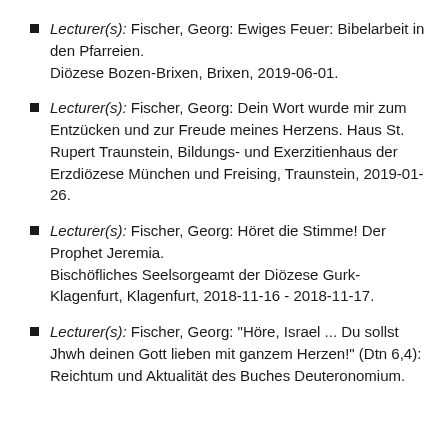Lecturer(s): Fischer, Georg: Ewiges Feuer: Bibelarbeit in den Pfarreien. Diözese Bozen-Brixen, Brixen, 2019-06-01.
Lecturer(s): Fischer, Georg: Dein Wort wurde mir zum Entzücken und zur Freude meines Herzens. Haus St. Rupert Traunstein, Bildungs- und Exerzitienhaus der Erzdiözese München und Freising, Traunstein, 2019-01-26.
Lecturer(s): Fischer, Georg: Höret die Stimme! Der Prophet Jeremia. Bischöfliches Seelsorgeamt der Diözese Gurk-Klagenfurt, Klagenfurt, 2018-11-16 - 2018-11-17.
Lecturer(s): Fischer, Georg: "Höre, Israel ... Du sollst Jhwh deinen Gott lieben mit ganzem Herzen!" (Dtn 6,4): Reichtum und Aktualität des Buches Deuteronomium.